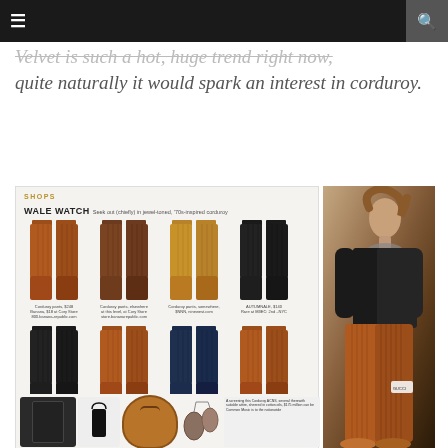≡  [navigation bar]  🔍
Velvet is such a hot, huge trend right now, quite naturally it would spark an interest in corduroy.
[Figure (photo): Magazine spread showing 'WALE WATCH' feature with 8 pairs of corduroy pants in rust, brown, caramel, black, and navy colors arranged in two rows of four, with product captions below each. Accompanied by a runway fashion photo of a model wearing rust/orange corduroy wide-leg pants with a coordinating jacket. Bottom section shows accessories including a leather jacket, tank top, brown bag, jewelry, and text block.]